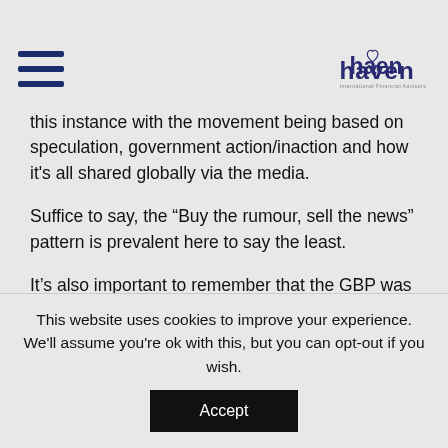[hamburger menu icon] [Haven logo]
this instance with the movement being based on speculation, government action/inaction and how it's all shared globally via the media.
Suffice to say, the “Buy the rumour, sell the news” pattern is prevalent here to say the least.
It’s also important to remember that the GBP was way stronger than expected in the run-up to the EU vote, which when considered takes at least a little off the sting felt by those losing big at the time of its inevitable fall. Some continue to claim that there may have been a drop in the value of the pound even if the remain party had been
This website uses cookies to improve your experience. We'll assume you're ok with this, but you can opt-out if you wish. Accept